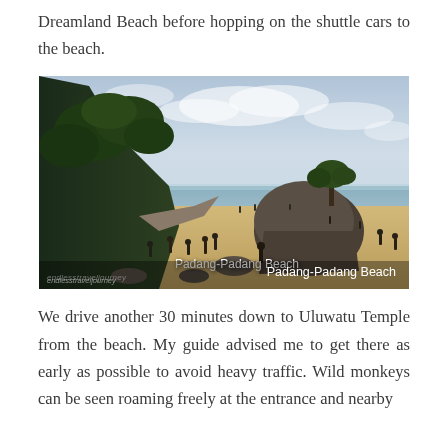Dreamland Beach before hopping on the shuttle cars to the beach.
[Figure (photo): Beach scene at Padang-Padang Beach, Bali. A sandy cove flanked by a large rocky cliff on the left covered in vegetation, and a massive boulder on the right with a tree growing on top. People are walking and playing on the beach, with calm ocean water in the background under an overcast sky. A watermark reading 'endlesstraveljourney' appears at bottom left.]
Padang-Padang Beach
We drive another 30 minutes down to Uluwatu Temple from the beach. My guide advised me to get there as early as possible to avoid heavy traffic. Wild monkeys can be seen roaming freely at the entrance and nearby